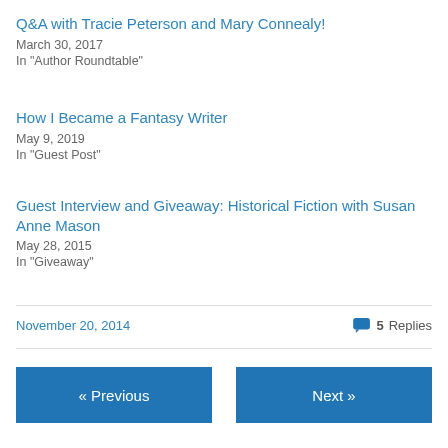Q&A with Tracie Peterson and Mary Connealy!
March 30, 2017
In "Author Roundtable"
How I Became a Fantasy Writer
May 9, 2019
In "Guest Post"
Guest Interview and Giveaway: Historical Fiction with Susan Anne Mason
May 28, 2015
In "Giveaway"
November 20, 2014   5 Replies
« Previous   Next »